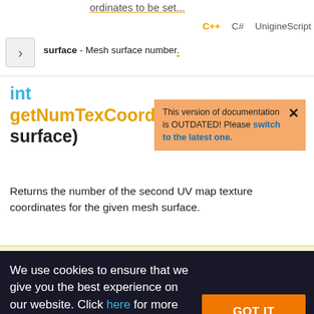ordinates to be set...
C++   C#   UnigineScript
surface - Mesh surface number.
int getNumTexCoords1(int surface)
This version of documentation is OUTDATED! Please switch to the latest one.
Returns the number of the second UV map texture coordinates for the given mesh surface.
We use cookies to ensure that we give you the best experience on our website. Click here for more information.
GOT IT